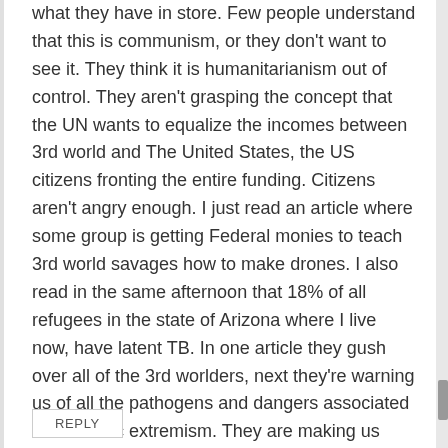what they have in store. Few people understand that this is communism, or they don't want to see it. They think it is humanitarianism out of control. They aren't grasping the concept that the UN wants to equalize the incomes between 3rd world and The United States, the US citizens fronting the entire funding. Citizens aren't angry enough. I just read an article where some group is getting Federal monies to teach 3rd world savages how to make drones. I also read in the same afternoon that 18% of all refugees in the state of Arizona where I live now, have latent TB. In one article they gush over all of the 3rd worlders, next they're warning us of all the pathogens and dangers associated with islamic extremism. They are making us crazy.
REPLY